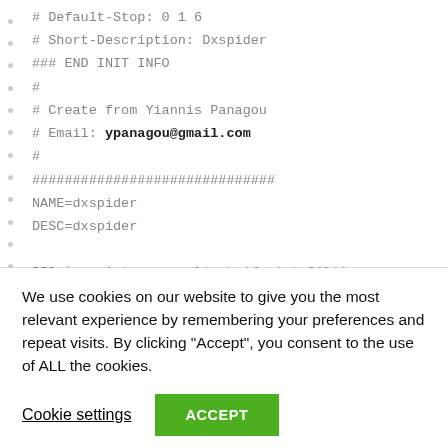# Default-Stop: 0 1 6
# Short-Description: Dxspider
### END INIT INFO
#
# Create from Yiannis Panagou
# Email: ypanagou@gmail.com
#
##############################
NAME=dxspider
DESC=dxspider

PID=`ps -A |grep perl|awk '{print $1}'`

set -e
We use cookies on our website to give you the most relevant experience by remembering your preferences and repeat visits. By clicking "Accept", you consent to the use of ALL the cookies.
Cookie settings
ACCEPT